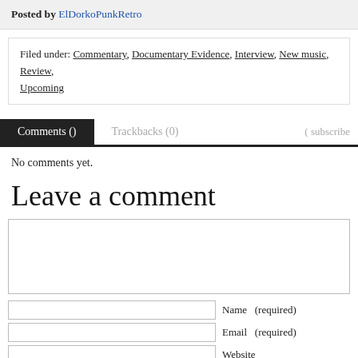Posted by ElDorkoPunkRetro
Filed under: Commentary, Documentary Evidence, Interview, New music, Review, Upcoming
Comments ()   Trackbacks (0)   ( subscribe
No comments yet.
Leave a comment
Name  (required)
Email  (required)
Website